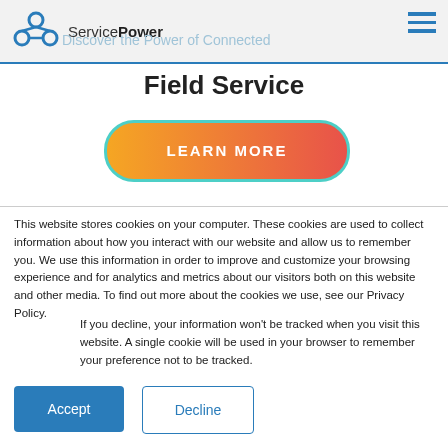ServicePower — Discover the Power of Connected
Field Service
[Figure (other): Orange-to-red gradient pill-shaped button with teal border reading LEARN MORE]
This website stores cookies on your computer. These cookies are used to collect information about how you interact with our website and allow us to remember you. We use this information in order to improve and customize your browsing experience and for analytics and metrics about our visitors both on this website and other media. To find out more about the cookies we use, see our Privacy Policy.
If you decline, your information won't be tracked when you visit this website. A single cookie will be used in your browser to remember your preference not to be tracked.